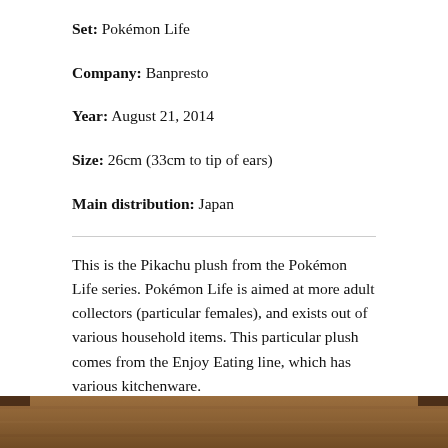Set: Pokémon Life
Company: Banpresto
Year: August 21, 2014
Size: 26cm (33cm to tip of ears)
Main distribution: Japan
This is the Pikachu plush from the Pokémon Life series. Pokémon Life is aimed at more adult collectors (particular females), and exists out of various household items. This particular plush comes from the Enjoy Eating line, which has various kitchenware.
[Figure (photo): Bottom strip showing a wooden surface photo, partially visible at the bottom of the page.]